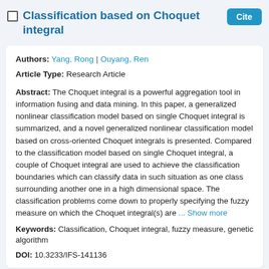Classification based on Choquet integral
Authors: Yang, Rong | Ouyang, Ren
Article Type: Research Article
Abstract: The Choquet integral is a powerful aggregation tool in information fusing and data mining. In this paper, a generalized nonlinear classification model based on single Choquet integral is summarized, and a novel generalized nonlinear classification model based on cross-oriented Choquet integrals is presented. Compared to the classification model based on single Choquet integral, a couple of Choquet integral are used to achieve the classification boundaries which can classify data in such situation as one class surrounding another one in a high dimensional space. The classification problems come down to properly specifying the fuzzy measure on which the Choquet integral(s) are ... Show more
Keywords: Classification, Choquet integral, fuzzy measure, genetic algorithm
DOI: 10.3233/IFS-141136